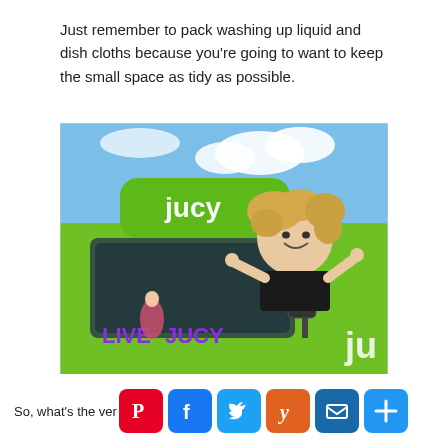Just remember to pack washing up liquid and dish cloths because you're going to want to keep the small space as tidy as possible.
[Figure (photo): A person with curly blonde hair leaning out the window of a bright green JUCY campervan, giving thumbs up gesture. The van has 'LIVE JUCY' branding and a green pod on the roof.]
So, what's the ver...ched...d...n...